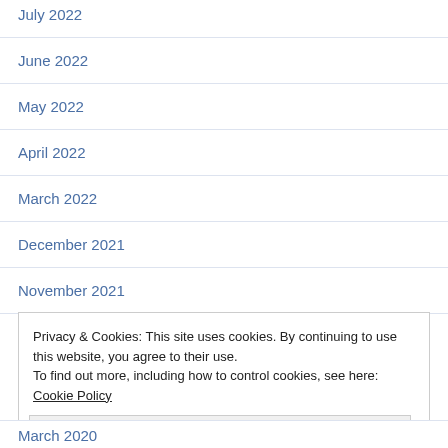July 2022
June 2022
May 2022
April 2022
March 2022
December 2021
November 2021
Privacy & Cookies: This site uses cookies. By continuing to use this website, you agree to their use. To find out more, including how to control cookies, see here: Cookie Policy
Close and accept
March 2020